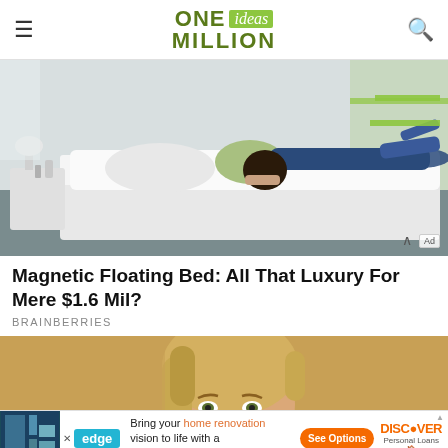ONE ideas MILLION
[Figure (photo): Woman with dark curly hair lying on a white bed, reading a book or phone. Modern bedroom with white walls and green accents. Ad badge visible in bottom right.]
Magnetic Floating Bed: All That Luxury For Mere $1.6 Mil?
BRAINBERRIES
[Figure (photo): Blonde woman with worried expression against a tan/gold background. Edge browser ad overlay at bottom with Discover Personal Loans advertisement.]